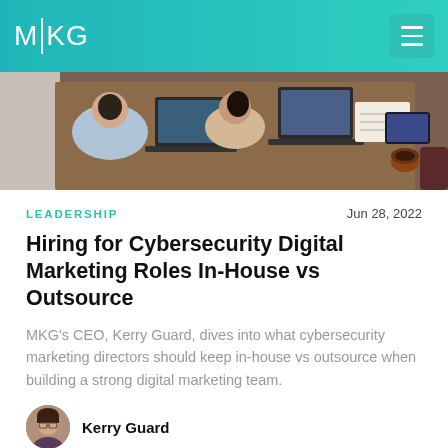MKG
[Figure (photo): Overhead view of people working at a table with laptops, papers, and a coffee cup]
LEADERSHIP
Jun 28, 2022
Hiring for Cybersecurity Digital Marketing Roles In-House vs Outsource
MKG's CEO, Kerry Guard, dives into what cybersecurity marketing directors should keep in-house vs outsource when building a strong digital marketing team.
Kerry Guard